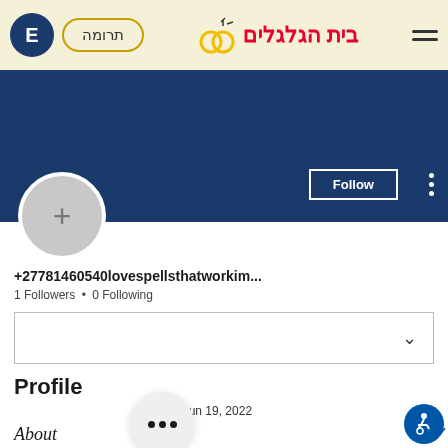בית הגלגלים — Navigation bar with E avatar, תרומה button, site title, rings icon, hamburger menu
[Figure (screenshot): Dark navy blue banner/cover image area]
[Figure (illustration): Gray circular profile avatar placeholder with + icon]
+27781460540lovespellsthatworkim...
1 Followers • 0 Following
[Figure (other): Dropdown box with chevron arrow]
Profile
te: Jun 19, 2022
[Figure (other): Three-dot menu popup circle overlay]
About